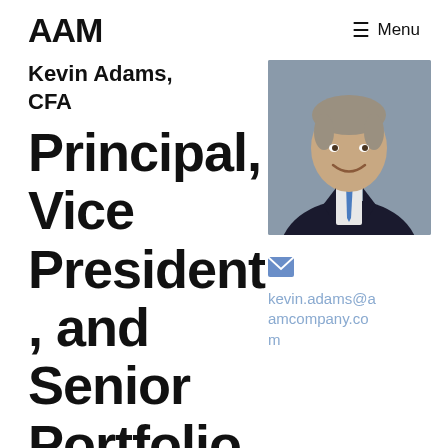AAM   ≡ Menu
Kevin Adams, CFA
Principal, Vice President, and Senior Portfolio
[Figure (photo): Professional headshot of Kevin Adams, a middle-aged man with gray-brown hair, wearing a dark suit and blue tie, smiling against a gray background.]
kevin.adams@aamcompany.com